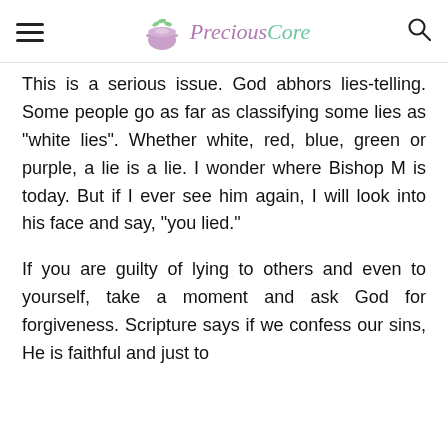Precious Core
This is a serious issue. God abhors lies-telling. Some people go as far as classifying some lies as "white lies". Whether white, red, blue, green or purple, a lie is a lie. I wonder where Bishop M is today. But if I ever see him again, I will look into his face and say, "you lied."
If you are guilty of lying to others and even to yourself, take a moment and ask God for forgiveness. Scripture says if we confess our sins, He is faithful and just to